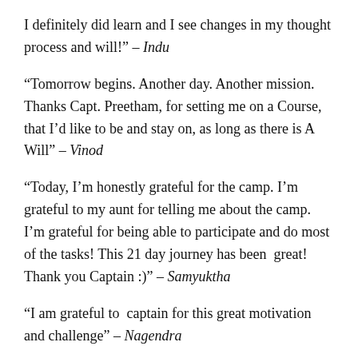I definitely did learn and I see changes in my thought process and will!” – Indu
“Tomorrow begins. Another day. Another mission. Thanks Capt. Preetham, for setting me on a Course, that I’d like to be and stay on, as long as there is A Will” – Vinod
“Today, I’m honestly grateful for the camp. I’m grateful to my aunt for telling me about the camp. I’m grateful for being able to participate and do most of the tasks! This 21 day journey has been  great! Thank you Captain :)” – Samyuktha
“I am grateful to  captain for this great motivation and challenge” – Nagendra
“Dear Preetham, I can’t even begin to tell you how much gratitude I feel towards you and the team for inviting me to this challenge, and delivering it masterfully…till day 21, and